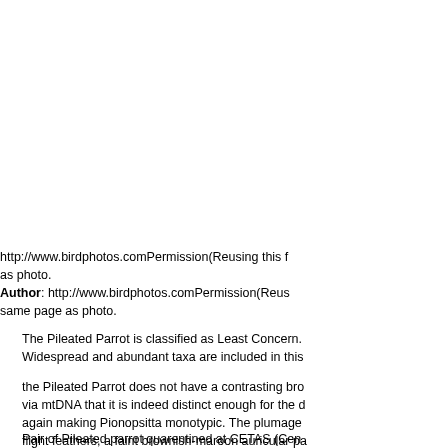http://www.birdphotos.comPermission(Reusing this f as photo.
Author: http://www.birdphotos.comPermission(Reus same page as photo.
The Pileated Parrot is classified as Least Concern. Widespread and abundant taxa are included in this
the Pileated Parrot does not have a contrasting bro via mtDNA that it is indeed distinct enough for the again making Pionopsitta monotypic. The plumage flight feathers, a faint brownish-maroon auricular p red forehead that extends down to just below the e
Pair of Pileated parrot quarentined at CETAS (Cen Triage for Wild Animals) - State of Paran More